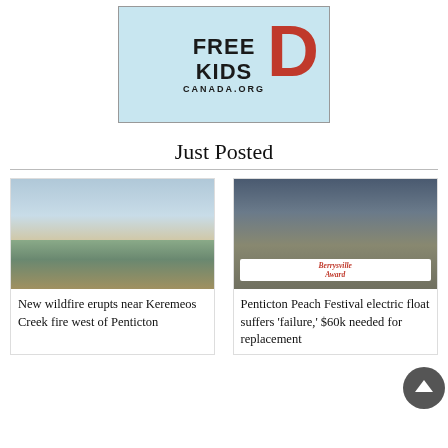[Figure (logo): Free Kids Canada.org logo with large red D letter on light blue background]
Just Posted
[Figure (photo): Wildfire smoke rising behind trees and lake near Keremeos Creek, Penticton]
New wildfire erupts near Keremeos Creek fire west of Penticton
[Figure (photo): People in hi-vis vests holding a Berrysville Award banner at Penticton Peach Festival parade]
Penticton Peach Festival electric float suffers 'failure,' $60k needed for replacement